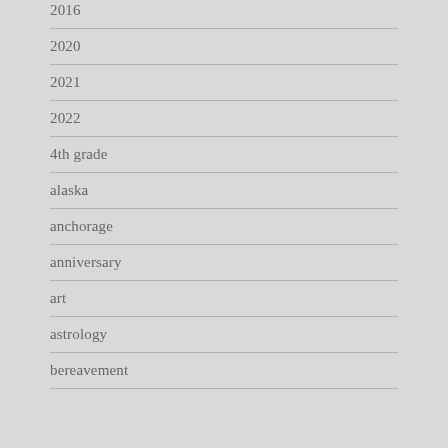2016
2020
2021
2022
4th grade
alaska
anchorage
anniversary
art
astrology
bereavement